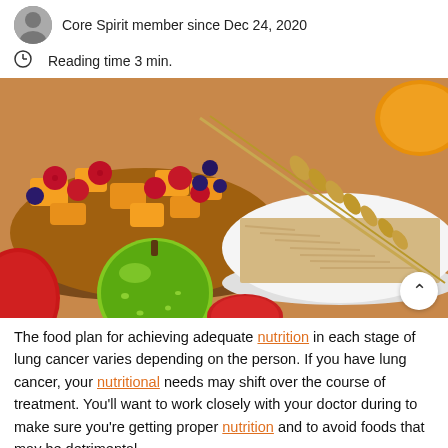Core Spirit member since Dec 24, 2020
Reading time 3 min.
[Figure (photo): Bowl of mixed fruit salad with mango chunks, raspberries and blueberries, a white bowl of oats with wheat stalks, a green apple, and red apples on a wooden surface.]
The food plan for achieving adequate nutrition in each stage of lung cancer varies depending on the person. If you have lung cancer, your nutritional needs may shift over the course of treatment. You'll want to work closely with your doctor during to make sure you're getting proper nutrition and to avoid foods that may be detrimental.